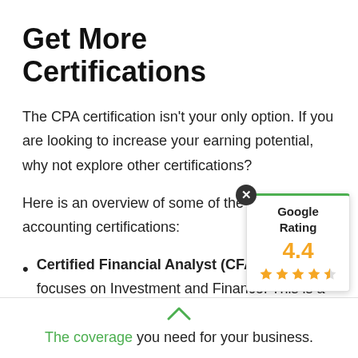Get More Certifications
The CPA certification isn't your only option. If you are looking to increase your earning potential, why not explore other certifications?
Here is an overview of some of the most p... accounting certifications:
[Figure (other): Google Rating popup showing 4.4 stars with 5 star icons (4 full, 1 half), green top border, close button]
Certified Financial Analyst (CFA) A CFA... focuses on Investment and Finance. This is a great certification to have under your belt if you
The coverage you need for your business.